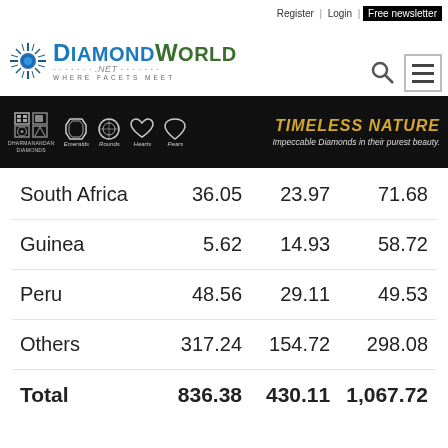Register | Login | Free newsletter
[Figure (logo): Diamond World logo with starburst icon, text 'DiamondWorld' and tagline 'WHERE FACETS MEET', with search icon and hamburger menu]
[Figure (infographic): Dharmanandan Diamonds banner with diamond shapes (Emeralds, Rounds, Hearts, Pears) and text 'TIMELESS NATURE – Impeccable Diamonds in their purest beauty.']
| South Africa | 36.05 | 23.97 | 71.68 |
| Guinea | 5.62 | 14.93 | 58.72 |
| Peru | 48.56 | 29.11 | 49.53 |
| Others | 317.24 | 154.72 | 298.08 |
| Total | 836.38 | 430.11 | 1,067.72 |